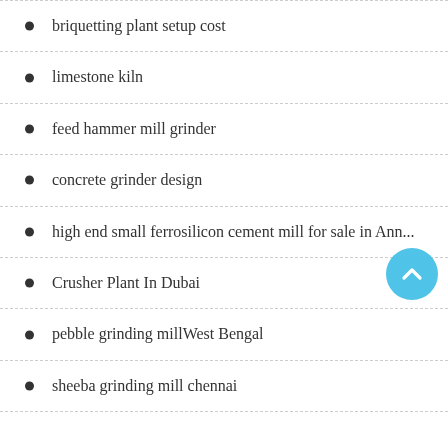briquetting plant setup cost
limestone kiln
feed hammer mill grinder
concrete grinder design
high end small ferrosilicon cement mill for sale in Ann...
Crusher Plant In Dubai
pebble grinding millWest Bengal
sheeba grinding mill chennai